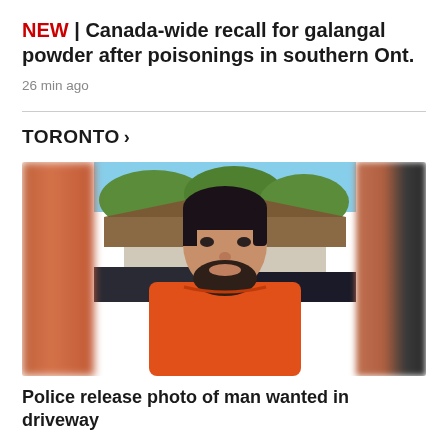NEW | Canada-wide recall for galangal powder after poisonings in southern Ont.
26 min ago
TORONTO >
[Figure (photo): Photo of a man in an orange t-shirt outdoors, with blurred side panels flanking a clear center image. The man has dark hair and a beard, standing in front of a house and trees on a sunny day.]
Police release photo of man wanted in driveway